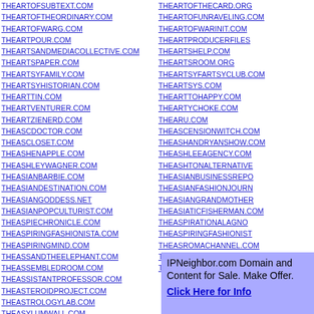THEARTOFSUBTEXT.COM
THEARTOFTHEORDINARY.COM
THEARTOFWARG.COM
THEARTPOUR.COM
THEARTSANDMEDIACOLLECTIVE.COM
THEARTSPAPER.COM
THEARTSYFAMILY.COM
THEARTSYHISTORIAN.COM
THEARTTIN.COM
THEARTVENTURER.COM
THEARTZIENERD.COM
THEASCDOCTOR.COM
THEASCLOSET.COM
THEASHENAPPLE.COM
THEASHLEYWAGNER.COM
THEASIANBARBIE.COM
THEASIANDESTINATION.COM
THEASIANGODDESS.NET
THEASIANPOPCULTURIST.COM
THEASPIECHRONICLE.COM
THEASPIRINGFASHIONISTA.COM
THEASPIRINGMIND.COM
THEASSANDTHEELEPHANT.COM
THEASSEMBLEDROOM.COM
THEASSISTANTPROFESSOR.COM
THEASTEROIDPROJECT.COM
THEASTROLOGYLAB.COM
THEASYLUMWALL.COM
THEARTOFTHECARD.ORG
THEARTOFUNRAVELING.COM
THEARTOFWARINIT.COM
THEARTPRODUCERFILES
THEARTSHELP.COM
THEARTSROOM.ORG
THEARTSYFARTSYCLUB.COM
THEARTSYS.COM
THEARTTOHAPPY.COM
THEARTYCHOKE.COM
THEARU.COM
THEASCENSIONWITCH.COM
THEASHANDRYANSHOW.COM
THEASHLEEAGENCY.COM
THEASHTONALTERNATIVE
THEASIANBUSINESSREPO
THEASIANFASHIONJOURN
THEASIANGRANDMOTHER
THEASIATICFISHERMAN.COM
THEASPIRATIONALAGNO
THEASPIRINGFASHIONIST
THEASROMACHANNEL.COM
THEASSASSINBUG.COM
THEASSEMBLER.NET
[Figure (other): IPNeighbor.com Domain and Content for Sale. Make Offer. Click Here for Info — blue advertisement banner]